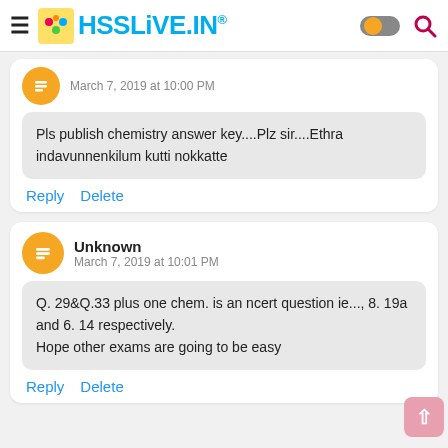HSSLiVE.IN®
March 7, 2019 at 10:00 PM
Pls publish chemistry answer key....Plz sir....Ethra indavunnenkilum kutti nokkatte
Reply   Delete
Unknown
March 7, 2019 at 10:01 PM
Q. 29&Q.33 plus one chem. is an ncert question ie..., 8. 19a and 6. 14 respectively.
Hope other exams are going to be easy
Reply   Delete